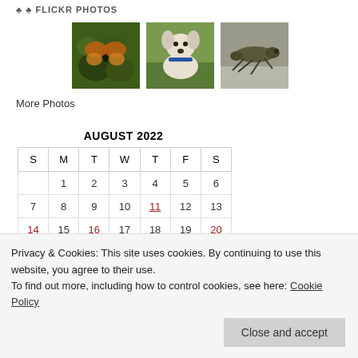FLICKR PHOTOS
[Figure (photo): Three Flickr photos: a butterfly on green shrubs, a white dog with collar, and a grasshopper/insect on a surface]
More Photos
AUGUST 2022
| S | M | T | W | T | F | S |
| --- | --- | --- | --- | --- | --- | --- |
|  | 1 | 2 | 3 | 4 | 5 | 6 |
| 7 | 8 | 9 | 10 | 11 | 12 | 13 |
| 14 | 15 | 16 | 17 | 18 | 19 | 20 |
| 21 | 22 | 23 | 24 | 25 | 26 | 27 |
| 28 | 29 | 30 | 31 |  |  |  |
Privacy & Cookies: This site uses cookies. By continuing to use this website, you agree to their use.
To find out more, including how to control cookies, see here: Cookie Policy